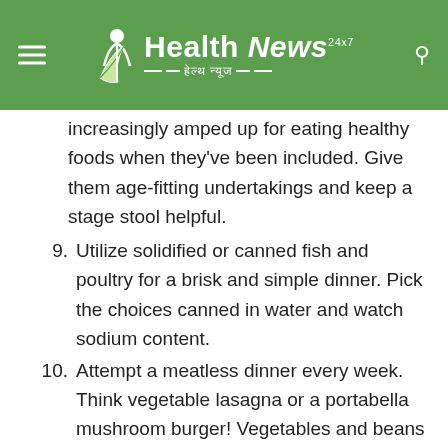Health News 24x7 — हेल्थ न्यूज
increasingly amped up for eating healthy foods when they've been included. Give them age-fitting undertakings and keep a stage stool helpful.
9. Utilize solidified or canned fish and poultry for a brisk and simple dinner. Pick the choices canned in water and watch sodium content.
10. Attempt a meatless dinner every week. Think vegetable lasagna or a portabella mushroom burger! Vegetables and beans can include protein, fiber, and different nutrients to a feast.
11. Be a promoter for healthier children! Demand great food decisions at school and childcare